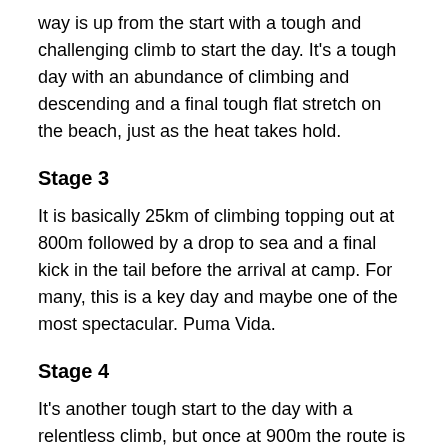way is up from the start with a tough and challenging climb to start the day. It's a tough day with an abundance of climbing and descending and a final tough flat stretch on the beach, just as the heat takes hold.
Stage 3
It is basically 25km of climbing topping out at 800m followed by a drop to sea and a final kick in the tail before the arrival at camp. For many, this is a key day and maybe one of the most spectacular. Puma Vida.
Stage 4
It's another tough start to the day with a relentless climb, but once at 900m the route is a roller coaster of relentless small climbs and descents, often littered with technical sections, rain forest, river crossings and boulders. At